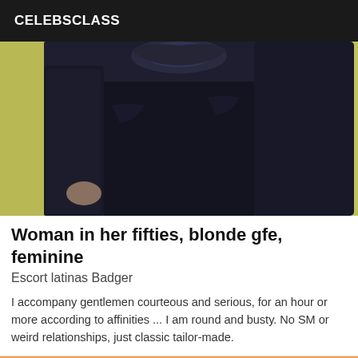CELEBSCLASS
[Figure (photo): A person wearing a black lace long-sleeve top, photographed from neck down, standing against a light yellow/green wall background.]
Woman in her fifties, blonde gfe, feminine
Escort latinas Badger
I accompany gentlemen courteous and serious, for an hour or more according to affinities ... I am round and busty. No SM or weird relationships, just classic tailor-made.